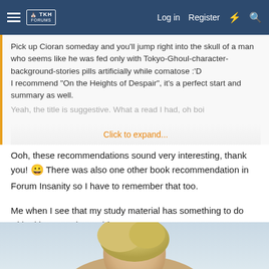Log in  Register
Pick up Cioran someday and you'll jump right into the skull of a man who seems like he was fed only with Tokyo-Ghoul-character-background-stories pills artificially while comatose :'D
I recommend "On the Heights of Despair", it's a perfect start and summary as well.
Yeah, the title is suggestive. What a read I had, oh boi
Click to expand...
Ooh, these recommendations sound very interesting, thank you! 😀 There was also one other book recommendation in Forum Insanity so I have to remember that too.
Me when I see that my study material has something to do with either Hegel or Heidegger:
[Figure (photo): Partial view of a person with light blonde/golden hair against a light sky background, shown from behind/side angle]